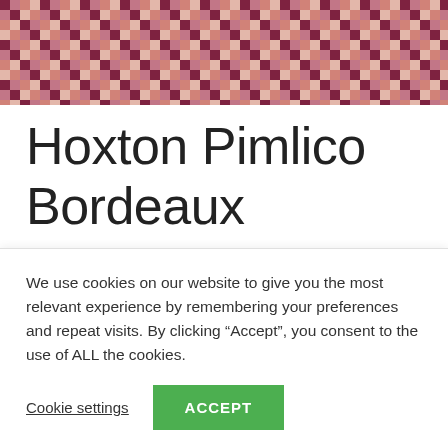[Figure (photo): Close-up photo of a houndstooth fabric pattern in shades of burgundy/bordeaux, pink, and beige/cream]
Hoxton Pimlico Bordeaux
| Colour | Bordeaux |
| Fabric Code | 467 |
We use cookies on our website to give you the most relevant experience by remembering your preferences and repeat visits. By clicking “Accept”, you consent to the use of ALL the cookies.
Cookie settings  ACCEPT